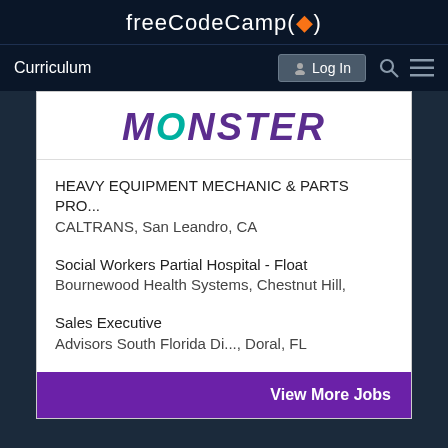freeCodeCamp(🔥)
Curriculum  Log In
[Figure (logo): Monster job board logo with teal 'O' and purple lettering]
HEAVY EQUIPMENT MECHANIC & PARTS PRO...
CALTRANS, San Leandro, CA
Social Workers Partial Hospital - Float
Bournewood Health Systems, Chestnut Hill,
Sales Executive
Advisors South Florida Di..., Doral, FL
View More Jobs